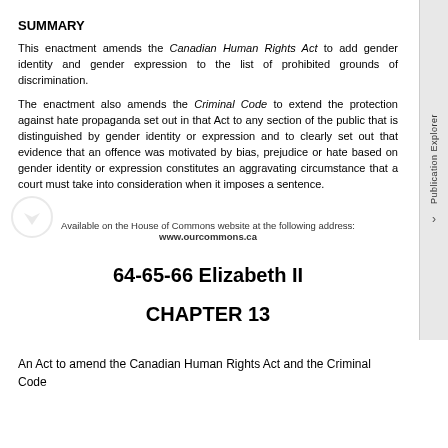SUMMARY
This enactment amends the Canadian Human Rights Act to add gender identity and gender expression to the list of prohibited grounds of discrimination.
The enactment also amends the Criminal Code to extend the protection against hate propaganda set out in that Act to any section of the public that is distinguished by gender identity or expression and to clearly set out that evidence that an offence was motivated by bias, prejudice or hate based on gender identity or expression constitutes an aggravating circumstance that a court must take into consideration when it imposes a sentence.
Available on the House of Commons website at the following address:
www.ourcommons.ca
64-65-66 Elizabeth II
CHAPTER 13
An Act to amend the Canadian Human Rights Act and the Criminal Code